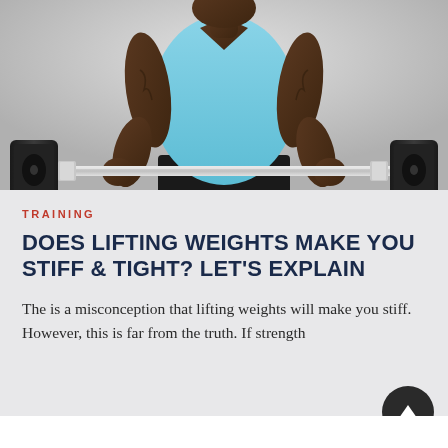[Figure (photo): A muscular man in a light blue tank top holding a barbell with weight plates on both ends, photographed from the waist up against a gray gradient background.]
TRAINING
DOES LIFTING WEIGHTS MAKE YOU STIFF & TIGHT? LET'S EXPLAIN
The is a misconception that lifting weights will make you stiff. However, this is far from the truth. If strength